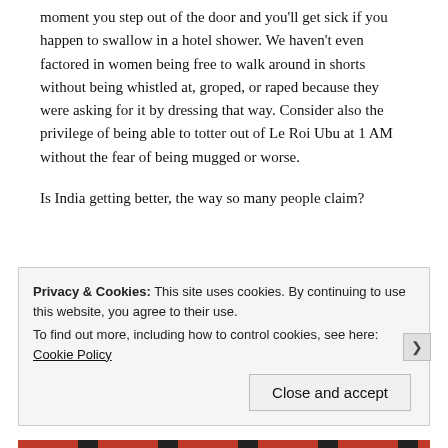moment you step out of the door and you'll get sick if you happen to swallow in a hotel shower. We haven't even factored in women being free to walk around in shorts without being whistled at, groped, or raped because they were asking for it by dressing that way. Consider also the privilege of being able to totter out of Le Roi Ubu at 1 AM without the fear of being mugged or worse.
Is India getting better, the way so many people claim?
Privacy & Cookies: This site uses cookies. By continuing to use this website, you agree to their use. To find out more, including how to control cookies, see here: Cookie Policy